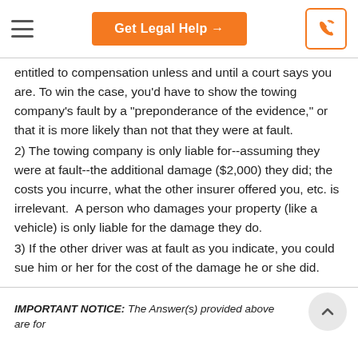Get Legal Help →
entitled to compensation unless and until a court says you are. To win the case, you'd have to show the towing company's fault by a "preponderance of the evidence," or that it is more likely than not that they were at fault.
2) The towing company is only liable for--assuming they were at fault--the additional damage ($2,000) they did; the costs you incurre, what the other insurer offered you, etc. is irrelevant.  A person who damages your property (like a vehicle) is only liable for the damage they do.
3) If the other driver was at fault as you indicate, you could sue him or her for the cost of the damage he or she did.
IMPORTANT NOTICE: The Answer(s) provided above are for